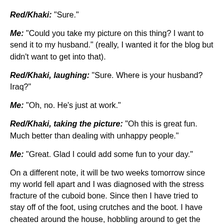Red/Khaki: "Sure."
Me: "Could you take my picture on this thing? I want to send it to my husband." (really, I wanted it for the blog but didn't want to get into that).
Red/Khaki, laughing: "Sure. Where is your husband? Iraq?"
Me: "Oh, no. He's just at work."
Red/Khaki, taking the picture: "Oh this is great fun. Much better than dealing with unhappy people."
Me: "Great. Glad I could add some fun to your day."
On a different note, it will be two weeks tomorrow since my world fell apart and I was diagnosed with the stress fracture of the cuboid bone. Since then I have tried to stay off of the foot, using crutches and the boot. I have cheated around the house, hobbling around to get the kids their damn waffles and to let my three-legged dog out. Tomorrow I go back to